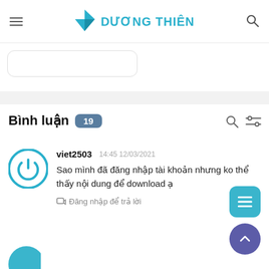DƯƠNG THIÊN
Bình luận 19
viet2503  14:45 12/03/2021
Sao mình đã đăng nhập tài khoản nhưng ko thể thấy nội dung để download ạ
Đăng nhập để trả lời